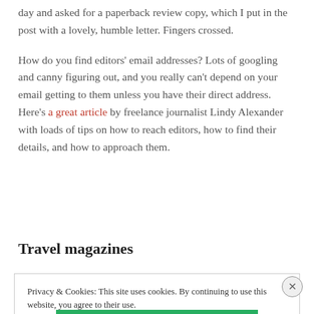day and asked for a paperback review copy, which I put in the post with a lovely, humble letter. Fingers crossed.
How do you find editors' email addresses? Lots of googling and canny figuring out, and you really can't depend on your email getting to them unless you have their direct address. Here's a great article by freelance journalist Lindy Alexander with loads of tips on how to reach editors, how to find their details, and how to approach them.
Travel magazines
Privacy & Cookies: This site uses cookies. By continuing to use this website, you agree to their use. To find out more, including how to control cookies, see here: Cookie Policy
Close and accept